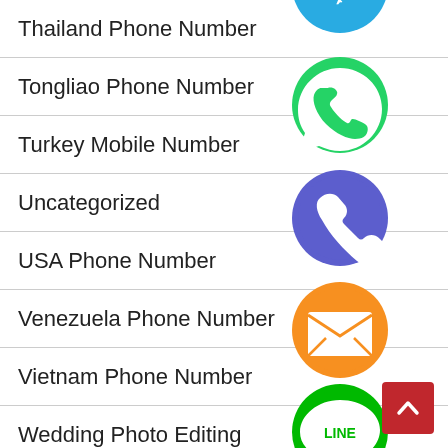Thailand Phone Number
Tongliao Phone Number
Turkey Mobile Number
Uncategorized
USA Phone Number
Venezuela Phone Number
Vietnam Phone Number
Wedding Photo Editing
WhatsApp Mobile Number List
[Figure (screenshot): Floating social media icon buttons: WhatsApp (green), phone/Viber (blue-purple), email/message (orange), LINE (green), Viber (purple), close/green X button]